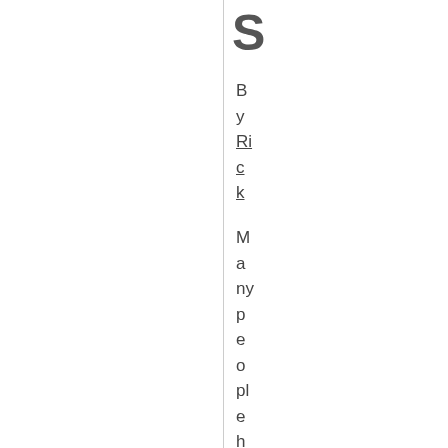S
By Rick
Many people have an iPhone or iPad